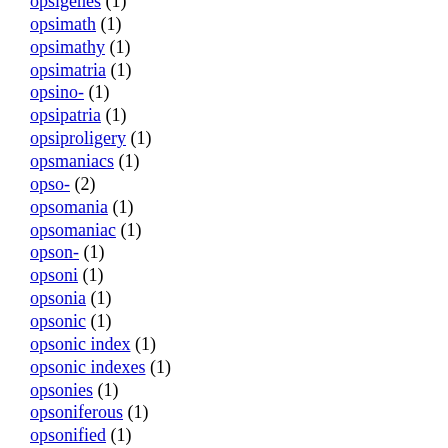opsigenes (1)
opsimath (1)
opsimathy (1)
opsimatria (1)
opsino- (1)
opsipatria (1)
opsiproligery (1)
opsmaniacs (1)
opso- (2)
opsomania (1)
opsomaniac (1)
opson- (1)
opsoni (1)
opsonia (1)
opsonic (1)
opsonic index (1)
opsonic indexes (1)
opsonies (1)
opsoniferous (1)
opsonified (1)
opsonifies (1)